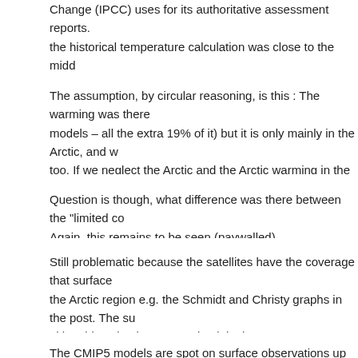Change (IPCC) uses for its authoritative assessment reports. the historical temperature calculation was close to the midd the IPCC's suite of models.
The assumption, by circular reasoning, is this : The warming was there models – all the extra 19% of it) but it is only mainly in the Arctic, and w too. If we neglect the Arctic and the Arctic warming in the models and " and observations will reconcile.
Question is though, what difference was there between the "limited co Again, this remains to be seen (paywalled)
Still problematic because the satellites have the coverage that surface the Arctic region e.g. the Schmidt and Christy graphs in the post. The su al is addressing began way back in the 1860s (apparently), but the ma derived from NASA's own satellites and the models only began in the the divergence began after about 1985.
The CMIP5 models are spot on surface observations up until 1955. An reason to "adjust" either models or observations prior to 1985. If Richa models and observations prior to 1985 then they have turned a very s